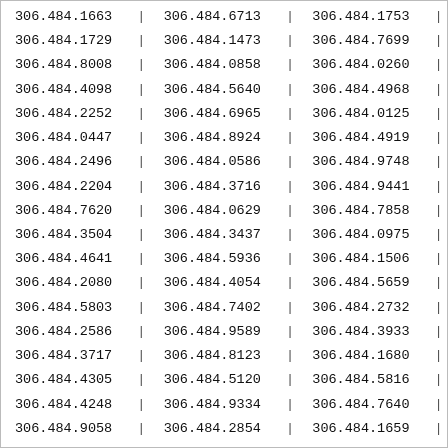| 306.484.1663 | | | 306.484.6713 | | | 306.484.1753 | | |
| 306.484.1729 | | | 306.484.1473 | | | 306.484.7699 | | |
| 306.484.8008 | | | 306.484.0858 | | | 306.484.0260 | | |
| 306.484.4098 | | | 306.484.5640 | | | 306.484.4968 | | |
| 306.484.2252 | | | 306.484.6965 | | | 306.484.0125 | | |
| 306.484.0447 | | | 306.484.8924 | | | 306.484.4919 | | |
| 306.484.2496 | | | 306.484.0586 | | | 306.484.9748 | | |
| 306.484.2204 | | | 306.484.3716 | | | 306.484.9441 | | |
| 306.484.7620 | | | 306.484.0629 | | | 306.484.7858 | | |
| 306.484.3504 | | | 306.484.3437 | | | 306.484.0975 | | |
| 306.484.4641 | | | 306.484.5936 | | | 306.484.1506 | | |
| 306.484.2080 | | | 306.484.4054 | | | 306.484.5659 | | |
| 306.484.5803 | | | 306.484.7402 | | | 306.484.2732 | | |
| 306.484.2586 | | | 306.484.9589 | | | 306.484.3933 | | |
| 306.484.3717 | | | 306.484.8123 | | | 306.484.1680 | | |
| 306.484.4305 | | | 306.484.5120 | | | 306.484.5816 | | |
| 306.484.4248 | | | 306.484.9334 | | | 306.484.7640 | | |
| 306.484.9058 | | | 306.484.2854 | | | 306.484.1659 | | |
| 306.484.2750 | | | 306.484.0778 | | | 306.484.6895 |  |